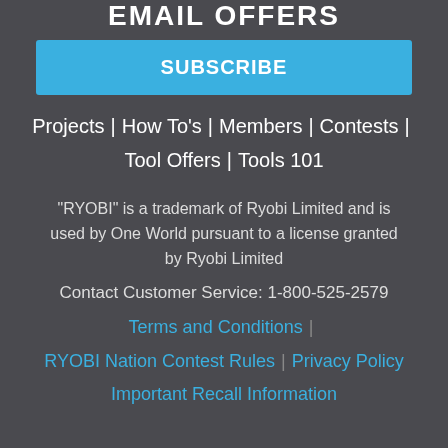EMAIL OFFERS
SUBSCRIBE
Projects | How To's | Members | Contests | Tool Offers | Tools 101
"RYOBI" is a trademark of Ryobi Limited and is used by One World pursuant to a license granted by Ryobi Limited
Contact Customer Service: 1-800-525-2579
Terms and Conditions | RYOBI Nation Contest Rules | Privacy Policy
Important Recall Information